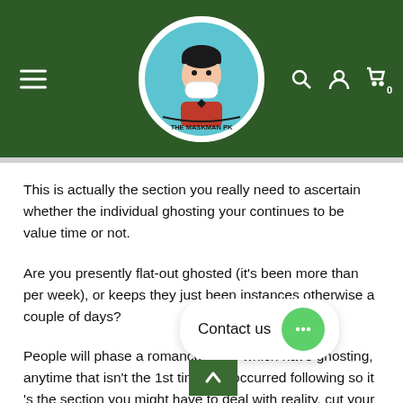[Figure (logo): The Maskman PK website header with dark green background, hamburger menu on left, circular logo in center showing a cartoon character wearing a mask with 'THE MASKMAN PK' text, and search/user/cart icons on right]
This is actually the section you really need to ascertain whether the individual ghosting your continues to be value time or not.
Are you presently flat-out ghosted (it's been more than per week), or keeps they just been instances otherwise a couple of days?
People will phase a romance aside which have ghosting, anytime that isn't the 1st time it is occurred following so it 's the section you might have to deal with reality, cut your loss and you can move on.
[Figure (other): Contact us chat widget with white rounded pill shape containing 'Contact us' text and a green circular chat button with ellipsis icon, plus a dark green back-to-top arrow button below]